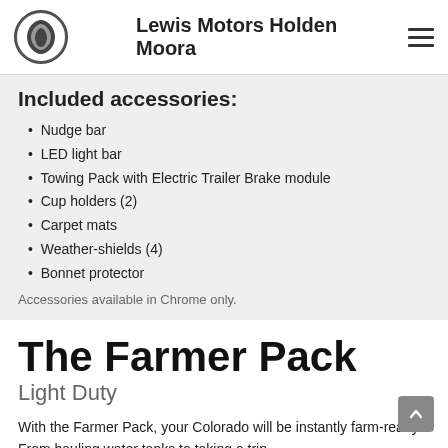Lewis Motors Holden Moora
Included accessories:
Nudge bar
LED light bar
Towing Pack with Electric Trailer Brake module
Cup holders (2)
Carpet mats
Weather-shields (4)
Bonnet protector
Accessories available in Chrome only.
The Farmer Pack
Light Duty
With the Farmer Pack, your Colorado will be instantly farm-ready. From hauling water tanks to taking a trip